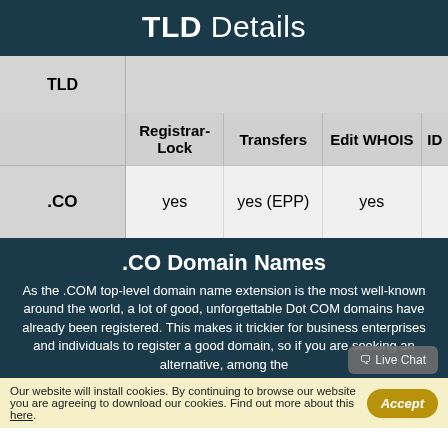TLD Details
| TLD | Registrar-Lock | Transfers | Edit WHOIS | ID |
| --- | --- | --- | --- | --- |
| .CO | yes | yes (EPP) | yes |  |
.CO Domain Names
As the .COM top-level domain name extension is the most well-known around the world, a lot of good, unforgettable Dot COM domains have already been registered. This makes it trickier for business enterprises and individuals to register a good domain, so if you are seeking an alternative, among the
Our website will install cookies. By continuing to browse our website you are agreeing to download our cookies. Find out more about this here.